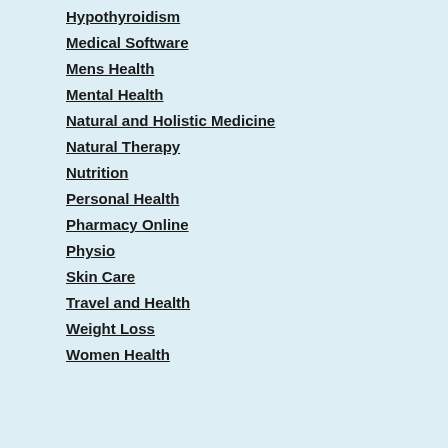Hypothyroidism
Medical Software
Mens Health
Mental Health
Natural and Holistic Medicine
Natural Therapy
Nutrition
Personal Health
Pharmacy Online
Physio
Skin Care
Travel and Health
Weight Loss
Women Health